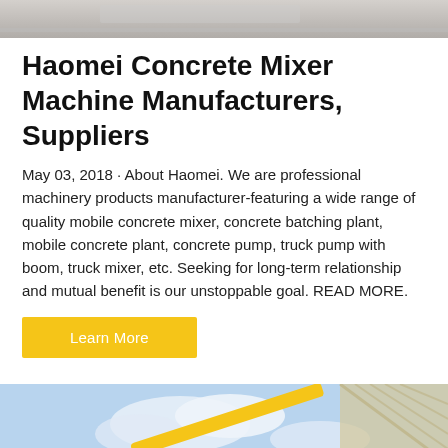[Figure (photo): Top partial photo of concrete machinery or material, cropped]
Haomei Concrete Mixer Machine Manufacturers, Suppliers
May 03, 2018 · About Haomei. We are professional machinery products manufacturer-featuring a wide range of quality mobile concrete mixer, concrete batching plant, mobile concrete plant, concrete pump, truck pump with boom, truck mixer, etc. Seeking for long-term relationship and mutual benefit is our unstoppable goal. READ MORE.
Learn More
[Figure (photo): Photo of blue and yellow concrete batching plant machinery with silos and conveyor belt against a sky background]